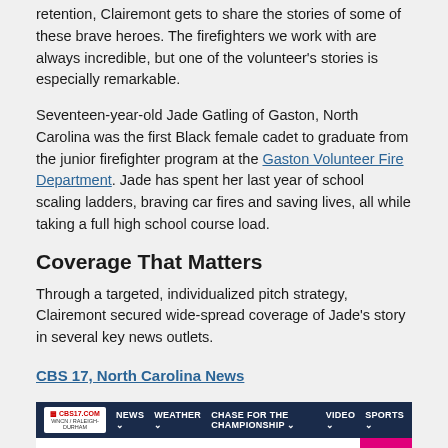retention, Clairemont gets to share the stories of some of these brave heroes. The firefighters we work with are always incredible, but one of the volunteer's stories is especially remarkable.
Seventeen-year-old Jade Gatling of Gaston, North Carolina was the first Black female cadet to graduate from the junior firefighter program at the Gaston Volunteer Fire Department. Jade has spent her last year of school scaling ladders, braving car fires and saving lives, all while taking a full high school course load.
Coverage That Matters
Through a targeted, individualized pitch strategy, Clairemont secured wide-spread coverage of Jade's story in several key news outlets.
CBS 17, North Carolina News
[Figure (screenshot): Screenshot of CBS17.com website header with navigation bar (NEWS, WEATHER, CHASE FOR THE CHAMPIONSHIP, VIDEO, SPORTS) and headline '1st Black female cadet set to graduate from']